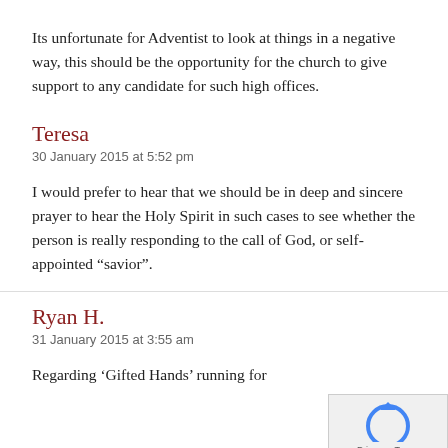Its unfortunate for Adventist to look at things in a negative way, this should be the opportunity for the church to give support to any candidate for such high offices.
Teresa
30 January 2015 at 5:52 pm
I would prefer to hear that we should be in deep and sincere prayer to hear the Holy Spirit in such cases to see whether the person is really responding to the call of God, or self-appointed “savior”.
Ryan H.
31 January 2015 at 3:55 am
Regarding ‘Gifted Hands’ running for